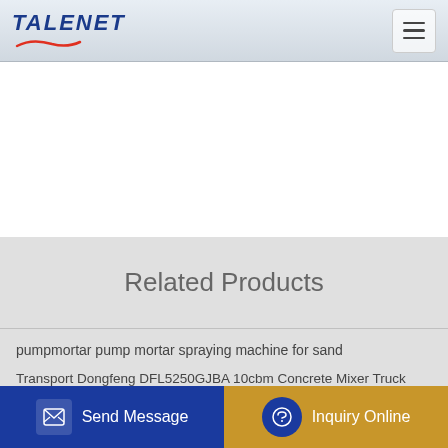TALENET
Related Products
pumpmortar pump mortar spraying machine for sand
China Factory price concrete mixer trucks low price in stock on
Second hand concrete mixer trucks QINGDAO PROMISING
Transport Dongfeng DFL5250GJBA 10cbm Concrete Mixer Truck